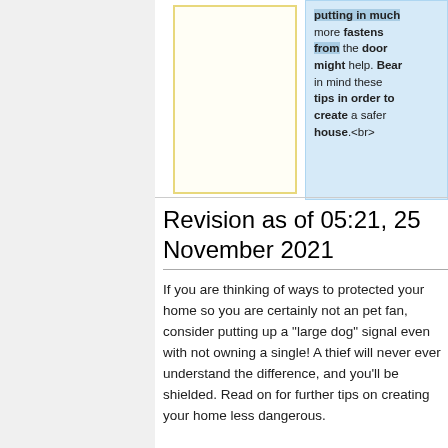putting in much more fastens from the door might help. Bear in mind these tips in order to create a safer house.<br>
Revision as of 05:21, 25 November 2021
If you are thinking of ways to protected your home so you are certainly not an pet fan, consider putting up a "large dog" signal even with not owning a single! A thief will never ever understand the difference, and you'll be shielded. Read on for further tips on creating your home less dangerous.